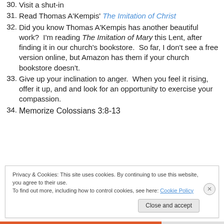30. Visit a shut-in
31. Read Thomas A'Kempis' The Imitation of Christ
32. Did you know Thomas A'Kempis has another beautiful work?  I'm reading The Imitation of Mary this Lent, after finding it in our church's bookstore.  So far, I don't see a free version online, but Amazon has them if your church bookstore doesn't.
33. Give up your inclination to anger.  When you feel it rising, offer it up, and and look for an opportunity to exercise your compassion.
34. Memorize Colossians 3:8-13
Privacy & Cookies: This site uses cookies. By continuing to use this website, you agree to their use. To find out more, including how to control cookies, see here: Cookie Policy
Close and accept